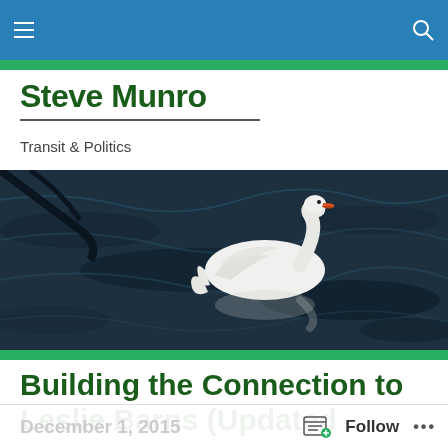Steve Munro — Transit & Politics
Steve Munro
Transit & Politics
[Figure (photo): A white swan swimming on dark rippling water, shot from above.]
Building the Connection to Leslie Barns (Updated
Follow ...